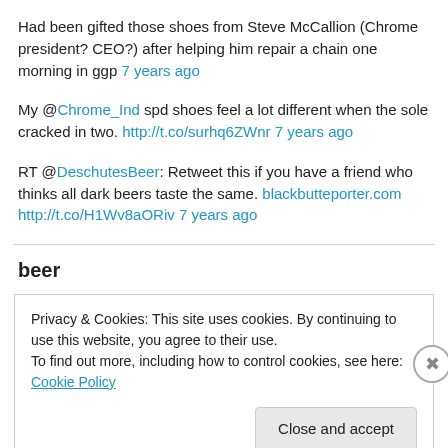Had been gifted those shoes from Steve McCallion (Chrome president? CEO?) after helping him repair a chain one morning in ggp 7 years ago
My @Chrome_Ind spd shoes feel a lot different when the sole cracked in two. http://t.co/surhq6ZWnr 7 years ago
RT @DeschutesBeer: Retweet this if you have a friend who thinks all dark beers taste the same. blackbutteporter.com http://t.co/H1Wv8aORiv 7 years ago
beer
Privacy & Cookies: This site uses cookies. By continuing to use this website, you agree to their use.
To find out more, including how to control cookies, see here: Cookie Policy
Close and accept